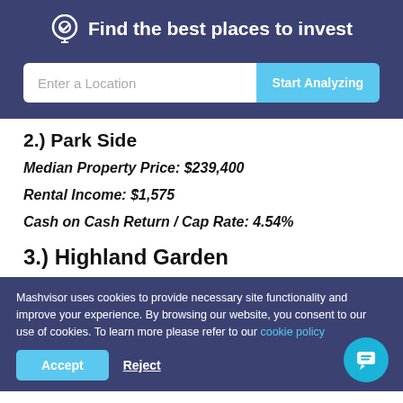Find the best places to invest
Enter a Location | Start Analyzing
2.) Park Side
Median Property Price: $239,400
Rental Income: $1,575
Cash on Cash Return / Cap Rate: 4.54%
3.) Highland Garden
Mashvisor uses cookies to provide necessary site functionality and improve your experience. By browsing our website, you consent to our use of cookies. To learn more please refer to our cookie policy
Accept | Reject